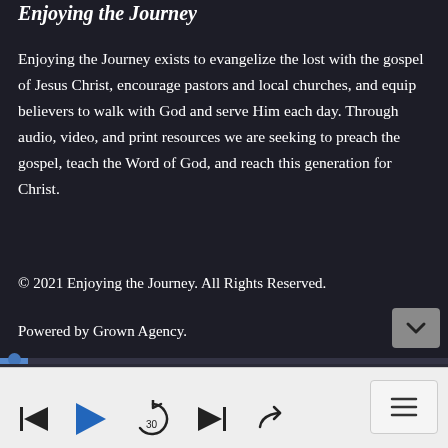Enjoying the Journey
Enjoying the Journey exists to evangelize the lost with the gospel of Jesus Christ, encourage pastors and local churches, and equip believers to walk with God and serve Him each day. Through audio, video, and print resources we are seeking to preach the gospel, teach the Word of God, and reach this generation for Christ.
© 2021 Enjoying the Journey. All Rights Reserved.
Powered by Grown Agency.